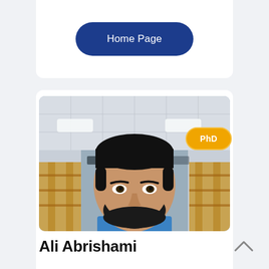Home Page
[Figure (photo): Headshot of a young man with a beard wearing a blue polo shirt, photographed in what appears to be a library or office with wooden shelving in the background]
PhD
Ali Abrishami